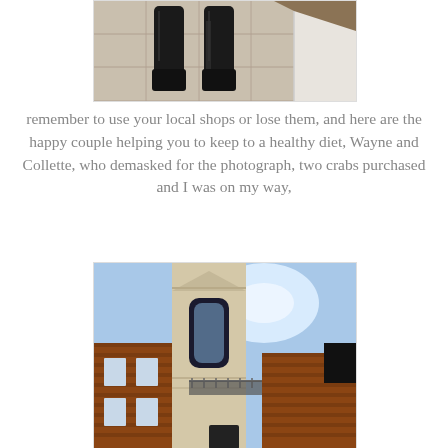[Figure (photo): Photo showing lower legs in tall black boots standing on a tiled floor, with white fabric visible to the right and wooden structure above]
remember to use your local shops or lose them, and here are the happy couple helping you to keep to a healthy diet, Wayne and Collette, who demasked for the photograph, two crabs purchased and I was on my way,
[Figure (photo): Exterior upward-looking photo of brick buildings with a tall stone church tower featuring arched windows, against a blue sky]